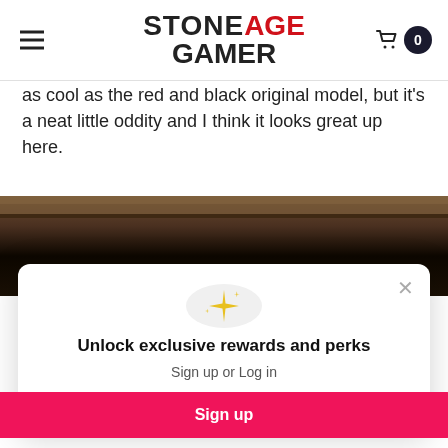Stone Age Gamer — navigation header with hamburger menu and cart badge (0)
as cool as the red and black original model, but it's a neat little oddity and I think it looks great up here.
[Figure (photo): Close-up photo of dark wood shelf edge against black background]
[Figure (screenshot): Popup modal: sparkle icon, 'Unlock exclusive rewards and perks', 'Sign up or Log in', pink Sign up button, 'Already have an account? Sign in']